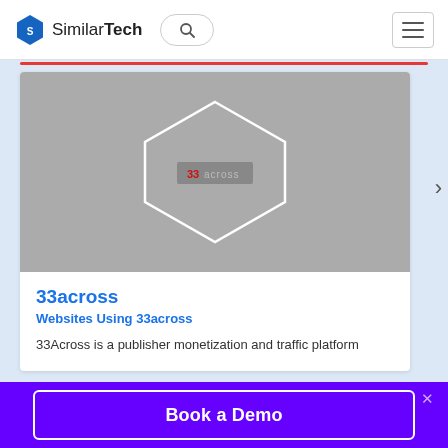SimilarTech
[Figure (screenshot): Card showing 33across logo inside a white hexagon outline on a grey background]
33across
Websites Using 33across
33Across is a publisher monetization and traffic platform
Book a Demo